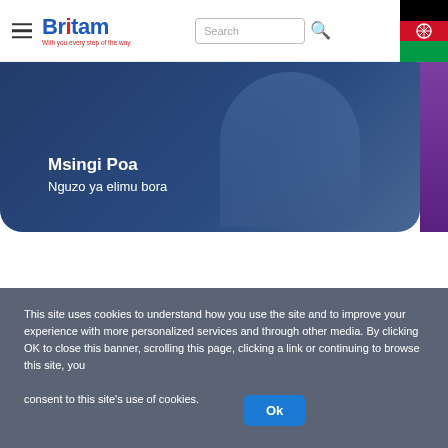Britam — With you every step of the way
[Figure (screenshot): Britam insurance website header with logo, search bar, and Malawi flag icon]
[Figure (photo): Hero banner image showing person in graduation gown with text 'Msingi Poa — Nguzo ya elimu bora']
Msingi Poa
Nguzo ya elimu bora
COPYRIGHT ◆ Britam ALL RIGHTS RESERVED.
This site uses cookies to understand how you use the site and to improve your experience with more personalized services and through other media. By clicking OK to close this banner, scrolling this page, clicking a link or continuing to browse this site, you consent to this site's use of cookies.